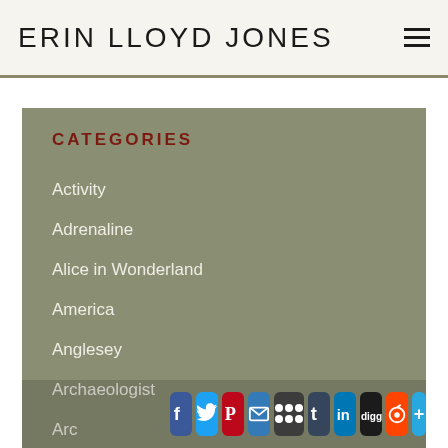ERIN LLOYD JONES
CATEGORIES
Activity
Adrenaline
Alice in Wonderland
America
Anglesey
Archaeologist
Arc[haeology]